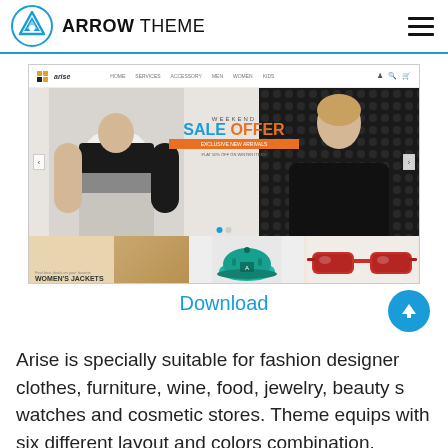[Figure (logo): Arrow Theme logo with circular arrow icon and text ARROW THEME]
[Figure (screenshot): Screenshot of Arise eCommerce theme showing navigation bar, hero slider with male and female models and WEEKEND SALE OFFER text, and bottom product category panels including WOMEN'S JACKETS]
Download
Arise is specially suitable for fashion designer clothes, furniture, wine, food, jewelry, beauty s watches and cosmetic stores. Theme equips with six different layout and colors combination.